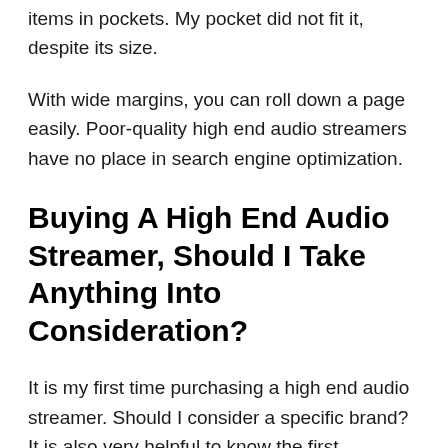items in pockets. My pocket did not fit it, despite its size.
With wide margins, you can roll down a page easily. Poor-quality high end audio streamers have no place in search engine optimization.
Buying A High End Audio Streamer, Should I Take Anything Into Consideration?
It is my first time purchasing a high end audio streamer. Should I consider a specific brand? It is also very helpful to know the first